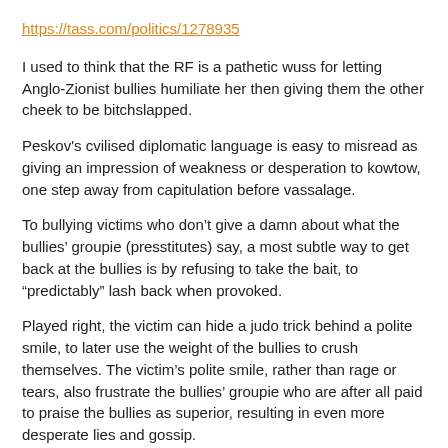https://tass.com/politics/1278935
I used to think that the RF is a pathetic wuss for letting Anglo-Zionist bullies humiliate her then giving them the other cheek to be bitchslapped.
Peskov's cvilised diplomatic language is easy to misread as giving an impression of weakness or desperation to kowtow, one step away from capitulation before vassalage.
To bullying victims who don’t give a damn about what the bullies’ groupie (presstitutes) say, a most subtle way to get back at the bullies is by refusing to take the bait, to “predictably” lash back when provoked.
Played right, the victim can hide a judo trick behind a polite smile, to later use the weight of the bullies to crush themselves. The victim’s polite smile, rather than rage or tears, also frustrate the bullies’ groupie who are after all paid to praise the bullies as superior, resulting in even more desperate lies and gossip.
“Highly likely” and all that tripe.